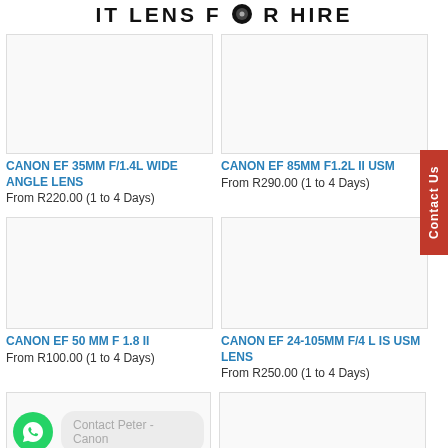IT LENS FOR HIRE
[Figure (photo): Product image box for Canon EF 35MM F/1.4L Wide Angle Lens]
CANON EF 35MM F/1.4L WIDE ANGLE LENS
From R220.00 (1 to 4 Days)
[Figure (photo): Product image box for Canon EF 85MM F1.2L II USM]
CANON EF 85MM F1.2L II USM
From R290.00 (1 to 4 Days)
[Figure (photo): Product image box for Canon EF 50MM F 1.8 II]
CANON EF 50 MM F 1.8 II
From R100.00 (1 to 4 Days)
[Figure (photo): Product image box for Canon EF 24-105MM F/4 L IS USM Lens]
CANON EF 24-105MM F/4 L IS USM LENS
From R250.00 (1 to 4 Days)
[Figure (screenshot): WhatsApp contact widget with green WhatsApp icon and Contact Peter - Canon bubble]
[Figure (photo): Product image box bottom right]